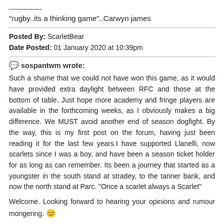--------------
"rugby..its a thinking game"..Carwyn james
Posted By: ScarletBear
Date Posted: 01 January 2020 at 10:39pm
sospantwm wrote:
Such a shame that we could not have won this game, as it would have provided extra daylight between RFC and those at the bottom of table. Just hope more academy and fringe players are available in the forthcoming weeks, as I obviously makes a big difference. We MUST avoid another end of season dogfight. By the way, this is my first post on the forum, having just been reading it for the last few years.I have supported Llanelli, now scarlets since I was a boy, and have been a season ticket holder for as long as can remember. Its been a journey that started as a youngster in the south stand at stradey, to the tanner bank, and now the north stand at Parc. "Once a scarlet always a Scarlet"
Welcome. Looking forward to hearing your opinions and rumour mongering. 😊